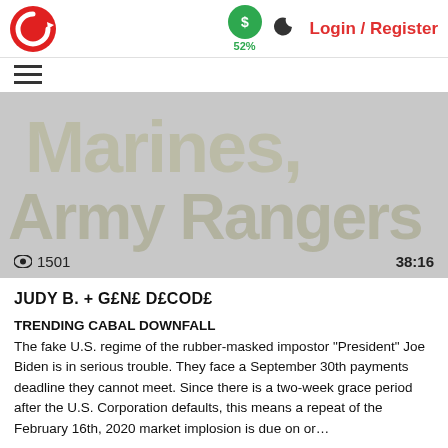52%  Login / Register
[Figure (screenshot): Video thumbnail with large watermark text 'Marines, Army Rangers' on grey background. Shows view count 1501 and duration 38:16.]
JUDY B. + G£N£ D£COD£
TRENDING CABAL DOWNFALL
The fake U.S. regime of the rubber-masked impostor “President” Joe Biden is in serious trouble. They face a September 30th payments deadline they cannot meet. Since there is a two-week grace period after the U.S. Corporation defaults, this means a repeat of the February 16th, 2020 market implosion is due on or…
Sep 15, 2021